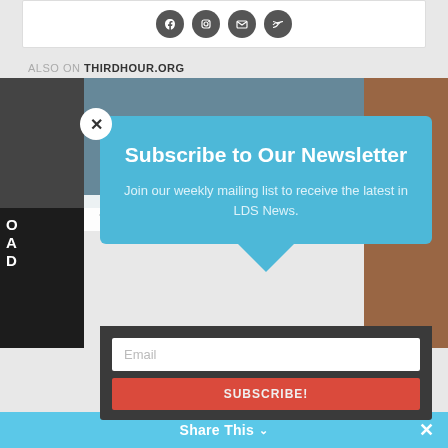[Figure (screenshot): Top white card with social sharing icons (circular dark buttons) at the top of the page]
ALSO ON THIRDHOUR.ORG
[Figure (screenshot): Carousel/slider area showing article thumbnails with left and right navigation arrows, dark overlay text beginning with letters O, A, D on left side]
Subscribe to Our Newsletter
Join our weekly mailing list to receive the latest in LDS News.
Email
SUBSCRIBE!
Share This